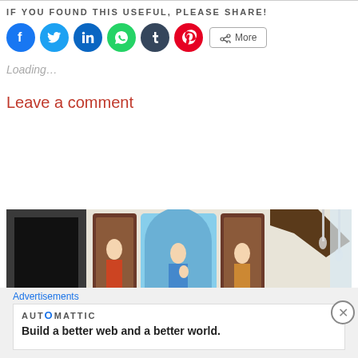IF YOU FOUND THIS USEFUL, PLEASE SHARE!
[Figure (infographic): Social share buttons: Facebook (blue circle), Twitter (light blue circle), LinkedIn (dark blue circle), WhatsApp (green circle), Tumblr (dark navy circle), Pinterest (red circle), and a More button with share icon]
Loading...
Leave a comment
[Figure (photo): Interior photo of a church showing religious statues in niches, a blue arched alcove with a Madonna and child statue in the center, flanked by ornate wooden frames with saints, and a large TV screen on the left. Pendant lights visible on the right side.]
Advertisements
AUTOMATTIC
Build a better web and a better world.